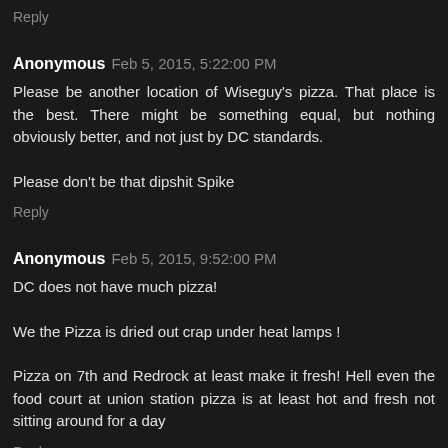Reply
Anonymous Feb 5, 2015, 5:22:00 PM
Please be another location of Wiseguy's pizza. That place is the best. There might be something equal, but nothing obviously better, and not just by DC standards.
Please don't be that dipshit Spike
Reply
Anonymous Feb 5, 2015, 9:52:00 PM
DC does not have much pizza!
We the Pizza is dried out crap under heat lamps !
Pizza on 7th and Redrock at least make it fresh! Hell even the food court at union station pizza is at least hot and fresh not sitting around for a day
Reply